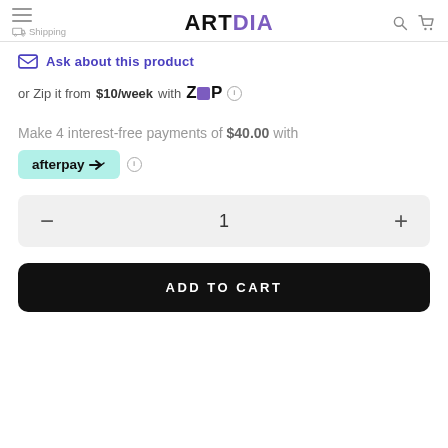ARTDIA — Shipping
Ask about this product
or Zip it from $10/week with Zip ℹ
Make 4 interest-free payments of $40.00 with afterpay ℹ
1
ADD TO CART